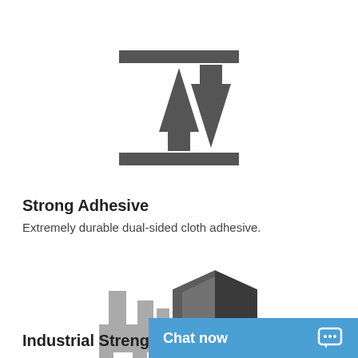[Figure (illustration): Icon showing two arrows (one up, one down) between two horizontal bars, representing compression or adhesion force]
Strong Adhesive
Extremely durable dual-sided cloth adhesive.
[Figure (illustration): Icon showing a factory building with a shield overlay (half light gray, half dark), representing industrial strength protection]
Industrial Strength
[Figure (other): Blue chat now button with chat bubble icon in bottom right corner]